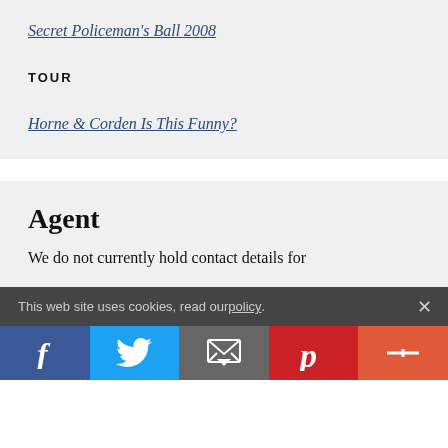Secret Policeman's Ball 2008
TOUR
Horne & Corden Is This Funny?
Agent
We do not currently hold contact details for
This web site uses cookies, read our policy.
f  Twitter  Email  Pinterest  +